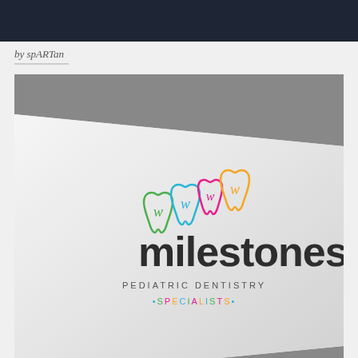by spARTan
[Figure (photo): A business card lying on a surface showing the Milestones Pediatric Dentistry Specialists logo with colorful tooth icons above the text.]